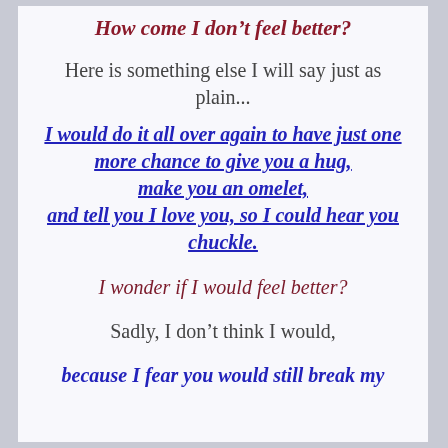How come I don't feel better?
Here is something else I will say just as plain...
I would do it all over again to have just one more chance to give you a hug, make you an omelet, and tell you I love you, so I could hear you chuckle.
I wonder if I would feel better?
Sadly, I don't think I would,
because I fear you would still break my